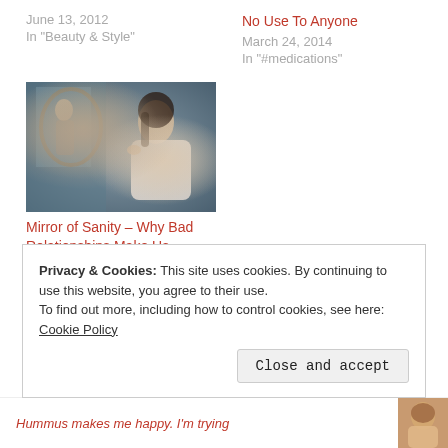June 13, 2012
In "Beauty & Style"
No Use To Anyone
March 24, 2014
In "#medications"
[Figure (photo): A woman in a white garment reclining, with a mirror reflection visible, painted or vintage photographic style]
Mirror of Sanity – Why Bad Relationships Make Us Crazy
July 18, 2012
In "Dating"
Privacy & Cookies: This site uses cookies. By continuing to use this website, you agree to their use.
To find out more, including how to control cookies, see here: Cookie Policy
Close and accept
Hummus makes me happy. I'm trying